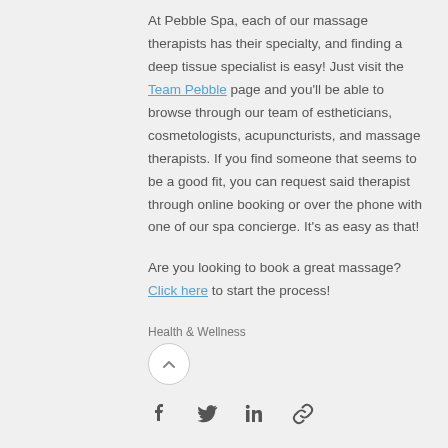At Pebble Spa, each of our massage therapists has their specialty, and finding a deep tissue specialist is easy! Just visit the Team Pebble page and you'll be able to browse through our team of estheticians, cosmetologists, acupuncturists, and massage therapists. If you find someone that seems to be a good fit, you can request said therapist through online booking or over the phone with one of our spa concierge. It's as easy as that!
Are you looking to book a great massage? Click here to start the process!
Health & Wellness